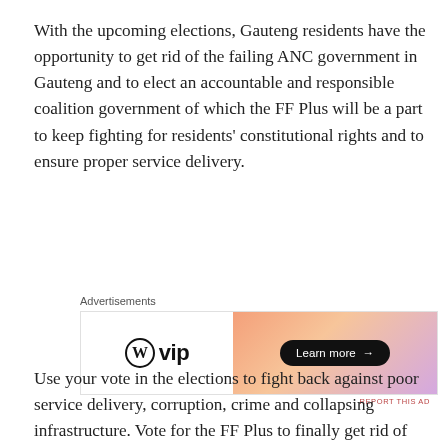With the upcoming elections, Gauteng residents have the opportunity to get rid of the failing ANC government in Gauteng and to elect an accountable and responsible coalition government of which the FF Plus will be a part to keep fighting for residents' constitutional rights and to ensure proper service delivery.
[Figure (other): Advertisement banner showing WordPress VIP logo on white background left side, and a gradient orange-to-purple background on right side with a dark 'Learn more →' button]
Use your vote in the elections to fight back against poor service delivery, corruption, crime and collapsing infrastructure. Vote for the FF Plus to finally get rid of the ANC in Gauteng.